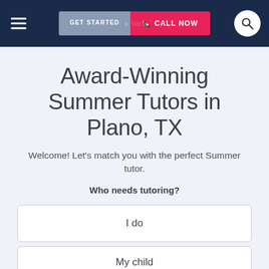GET STARTED | CALL NOW
Award-Winning Summer Tutors in Plano, TX
Welcome! Let's match you with the perfect Summer tutor.
Who needs tutoring?
I do
My child